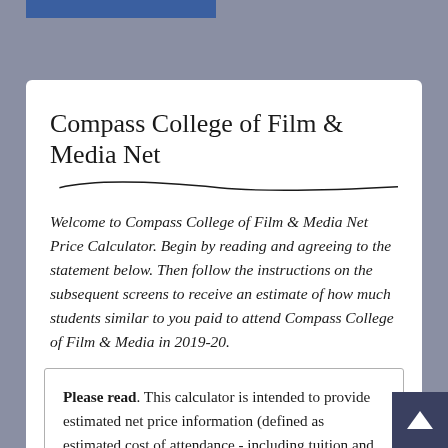Compass College of Film & Media Net
Welcome to Compass College of Film & Media Net Price Calculator. Begin by reading and agreeing to the statement below. Then follow the instructions on the subsequent screens to receive an estimate of how much students similar to you paid to attend Compass College of Film & Media in 2019-20.
Please read. This calculator is intended to provide estimated net price information (defined as estimated cost of attendance - including tuition and required fees, books and supplies, room and board (meals), and other related expenses - minus estimated grant and scholarship aid) to current and prospective